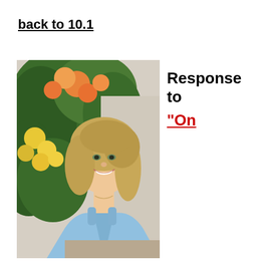back to 10.1
[Figure (photo): A young woman with blonde hair, smiling, wearing a light blue top, standing in front of a wall with orange and yellow rose bushes.]
Response to “On